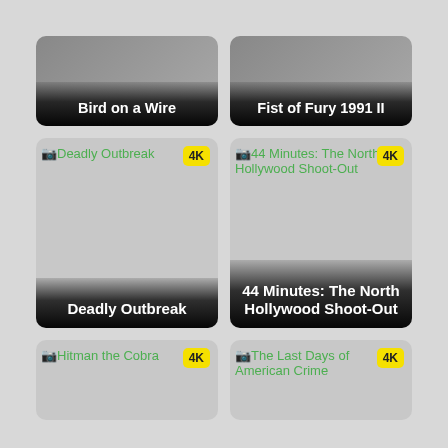[Figure (screenshot): Movie tile: Bird on a Wire with dark gradient title bar]
[Figure (screenshot): Movie tile: Fist of Fury 1991 II with dark gradient title bar]
[Figure (screenshot): Movie tile: Deadly Outbreak with broken image placeholder, 4K badge, and dark gradient title bar]
[Figure (screenshot): Movie tile: 44 Minutes: The North Hollywood Shoot-Out with broken image placeholder, 4K badge, and dark gradient title bar]
[Figure (screenshot): Movie tile: Hitman the Cobra with broken image placeholder and 4K badge]
[Figure (screenshot): Movie tile: The Last Days of American Crime with broken image placeholder and 4K badge]